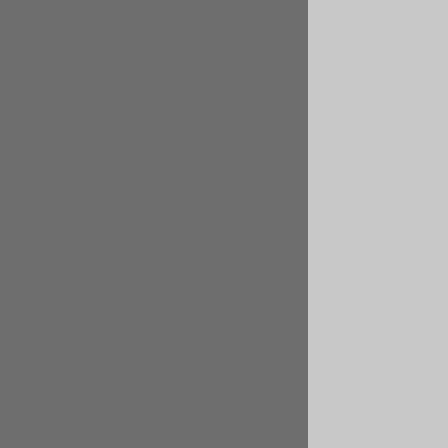the 70-200mm f2.8 VRII) will likely be disappointed in feels more "plasticky" and when the zoom is extended of the lens and you'll feel some non-reassuring mover somehow "felt" cheap. And a few other things contribu
Lens Hood Design and Quality: In my opinion, reversed in the non-extended "carrying in a pack" the lens out for a quick shot (and without taking the ring. You CAN zoom the lens to longer focal length toward the camera), but this method of zooming is bayonet style method of attaching the hood isn't ve a pretty minor bump.
Tripod Collar: There's no diplomatic way to say etc.). The problem - extreme flex when mounted on on a tripod and you can move the distal end of the are there any viable workarounds? Well...I mostly me it's not a deal breaker. If you are likely to put th flexible) 3rd party tripod collar (like the very good c price of the lens.
So where does this leave me with build quality (and, a year - I got it wet, I froze it, I banged it around (like no slow down in AF performance, etc.). And, because really isn't a big issue for me. The lens hood issue? I look for a quality 3rd party replacement lens hood. Bu right?).
2. Lens Appearance/Aesthetics: In many ways the a